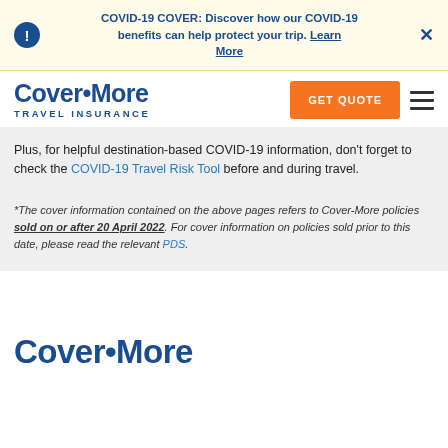COVID-19 COVER: Discover how our COVID-19 benefits can help protect your trip. Learn More
[Figure (logo): Cover-More Travel Insurance logo with orange GET QUOTE button and hamburger menu]
Plus, for helpful destination-based COVID-19 information, don't forget to check the COVID-19 Travel Risk Tool before and during travel.
*The cover information contained on the above pages refers to Cover-More policies sold on or after 20 April 2022. For cover information on policies sold prior to this date, please read the relevant PDS.
[Figure (logo): Cover-More logo at bottom of page]